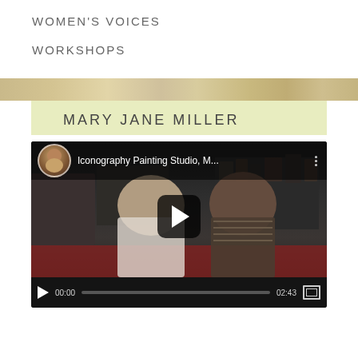WOMEN's voices
WORKSHOPS
[Figure (photo): Horizontal decorative banner strip with marble or stone texture in warm tan/beige tones]
MARY JANE MILLER
[Figure (screenshot): YouTube video player showing 'Iconography Painting Studio, M...' with two people sitting at a table in a dark studio filled with religious icons. Video is paused at 00:00, total duration 02:43.]